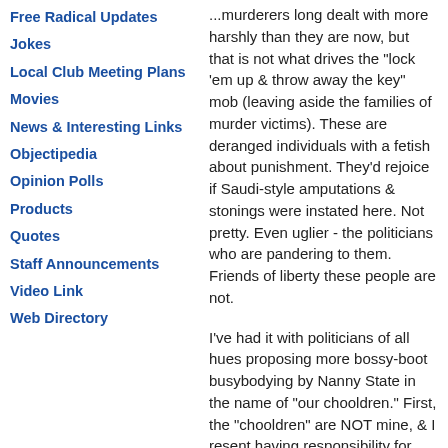Free Radical Updates
Jokes
Local Club Meeting Plans
Movies
News & Interesting Links
Objectipedia
Opinion Polls
Products
Quotes
Staff Announcements
Video Link
Web Directory
...murderers long dealt with more harshly than they are now, but that is not what drives the "lock 'em up & throw away the key" mob (leaving aside the families of murder victims). These are deranged individuals with a fetish about punishment. They'd rejoice if Saudi-style amputations & stonings were instated here. Not pretty. Even uglier - the politicians who are pandering to them. Friends of liberty these people are not.
I've had it with politicians of all hues proposing more bossy-boot busybodying by Nanny State in the name of "our chooldren." First, the "chooldren" are NOT mine, & I resent having responsibility for them foisted onto me. Second, the area of pre-school education used genuinely to be a parental prerogative, a haven of parental choice, relatively free of the state